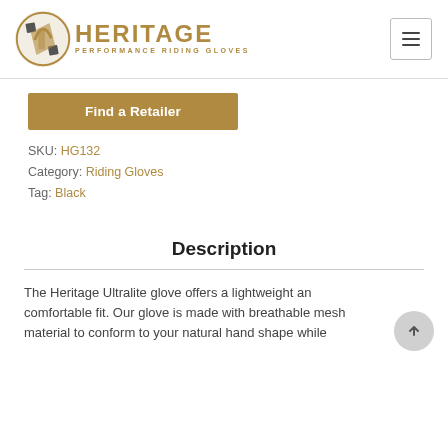[Figure (logo): Heritage Performance Riding Gloves logo with stylized H emblem in brown/gold tones]
Find a Retailer
SKU: HG132
Category: Riding Gloves
Tag: Black
Description
The Heritage Ultralite glove offers a lightweight and comfortable fit. Our glove is made with breathable mesh material to conform to your natural hand shape while